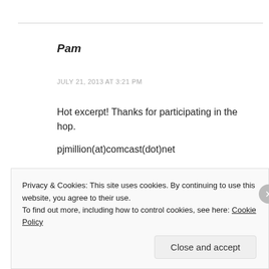Pam
JULY 21, 2013 AT 3:21 PM
Hot excerpt! Thanks for participating in the hop.
pjmillion(at)comcast(dot)net
Like
Privacy & Cookies: This site uses cookies. By continuing to use this website, you agree to their use. To find out more, including how to control cookies, see here: Cookie Policy
Close and accept